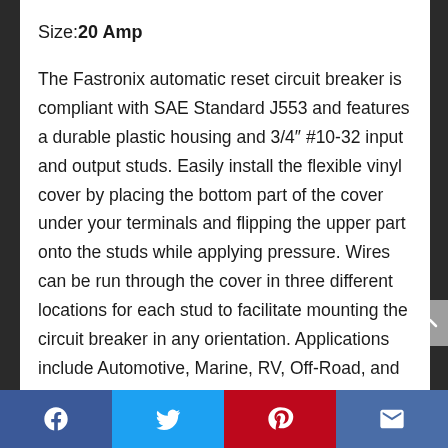Size:20 Amp
The Fastronix automatic reset circuit breaker is compliant with SAE Standard J553 and features a durable plastic housing and 3/4″ #10-32 input and output studs. Easily install the flexible vinyl cover by placing the bottom part of the cover under your terminals and flipping the upper part onto the studs while applying pressure. Wires can be run through the cover in three different locations for each stud to facilitate mounting the circuit breaker in any orientation. Applications include Automotive, Marine, RV, Off-Road, and more.
Facebook | Twitter | Pinterest | Email